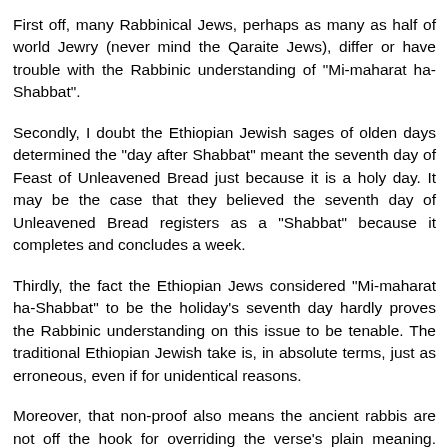First off, many Rabbinical Jews, perhaps as many as half of world Jewry (never mind the Qaraite Jews), differ or have trouble with the Rabbinic understanding of "Mi-maharat ha-Shabbat".
Secondly, I doubt the Ethiopian Jewish sages of olden days determined the "day after Shabbat" meant the seventh day of Feast of Unleavened Bread just because it is a holy day. It may be the case that they believed the seventh day of Unleavened Bread registers as a "Shabbat" because it completes and concludes a week.
Thirdly, the fact the Ethiopian Jews considered "Mi-maharat ha-Shabbat" to be the holiday's seventh day hardly proves the Rabbinic understanding on this issue to be tenable. The traditional Ethiopian Jewish take is, in absolute terms, just as erroneous, even if for unidentical reasons.
Moreover, that non-proof also means the ancient rabbis are not off the hook for overriding the verse's plain meaning. Additionally, it is a logical fallacy and a feat of wishful thinking to state the ancient Ethiopian Jewish take...